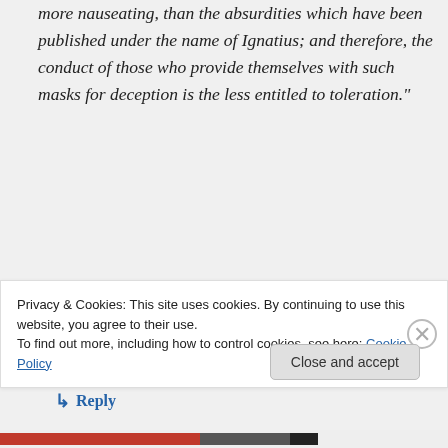more nauseating, than the absurdities which have been published under the name of Ignatius; and therefore, the conduct of those who provide themselves with such masks for deception is the less entitled to toleration."
He was wrong, of course…
★ Like
↳ Reply
Privacy & Cookies: This site uses cookies. By continuing to use this website, you agree to their use.
To find out more, including how to control cookies, see here: Cookie Policy
Close and accept